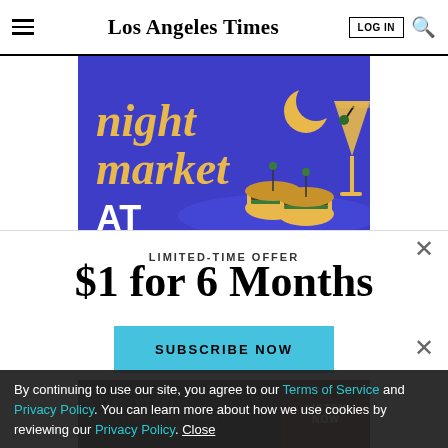Los Angeles Times
[Figure (illustration): Night market advertisement banner on blue/purple background with text 'night market AT' in yellow serif font with crescent moon, illustrated burgers and martini glass]
LIMITED-TIME OFFER
$1 for 6 Months
SUBSCRIBE NOW
[Figure (illustration): Bottom strip ad for 'THE TIMES' podcast - A DAILY NEWS PODCAST FROM THE LOS ANGELES TIMES with LISTEN NOW button]
By continuing to use our site, you agree to our Terms of Service and Privacy Policy. You can learn more about how we use cookies by reviewing our Privacy Policy. Close